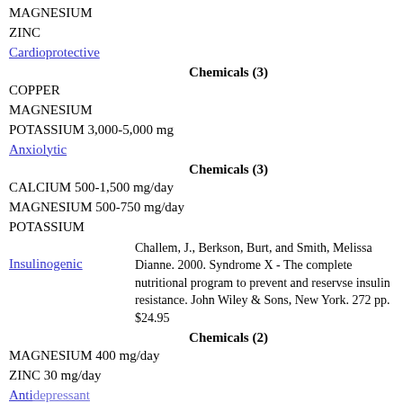MAGNESIUM
ZINC
Cardioprotective
Chemicals (3)
COPPER
MAGNESIUM
POTASSIUM 3,000-5,000 mg
Anxiolytic
Chemicals (3)
CALCIUM 500-1,500 mg/day
MAGNESIUM 500-750 mg/day
POTASSIUM
Challem, J., Berkson, Burt, and Smith, Melissa Dianne. 2000. Syndrome X - The complete nutritional program to prevent and reservse insulin resistance. John Wiley & Sons, New York. 272 pp. $24.95
Insulinogenic
Chemicals (2)
MAGNESIUM 400 mg/day
ZINC 30 mg/day
Antidepressant